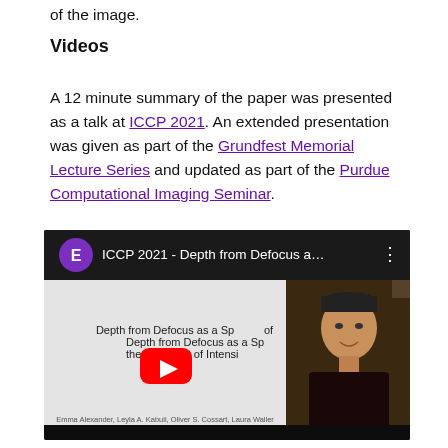of the image.
Videos
A 12 minute summary of the paper was presented as a talk at ICCP 2021. An extended presentation was given as part of the Grundfest Memorial Lecture Series and updated as part of the Purdue Computational Imaging Seminar.
[Figure (screenshot): YouTube video embed showing 'ICCP 2021 - Depth from Defocus a...' with a slide thumbnail on the left showing 'Depth from Defocus as a Special Case of the Transport of Intensity' by Emma Alexander, Leyla A. Kabuli, Oliver S. Cossart, Laura Waller and a YouTube play button overlay, and a webcam feed of a person on the right.]